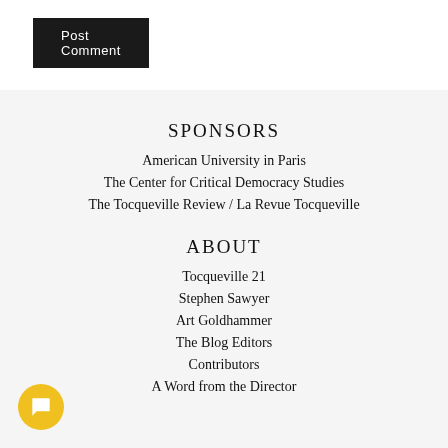[Figure (screenshot): Black 'Post Comment' button in top left]
SPONSORS
American University in Paris
The Center for Critical Democracy Studies
The Tocqueville Review / La Revue Tocqueville
ABOUT
Tocqueville 21
Stephen Sawyer
Art Goldhammer
The Blog Editors
Contributors
A Word from the Director